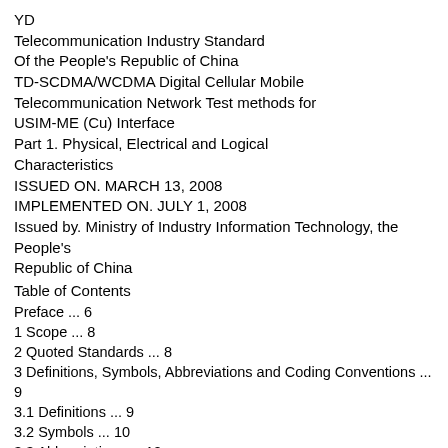YD
Telecommunication Industry Standard
Of the People's Republic of China
TD-SCDMA/WCDMA Digital Cellular Mobile Telecommunication Network Test methods for USIM-ME (Cu) Interface
Part 1. Physical, Electrical and Logical Characteristics
ISSUED ON. MARCH 13, 2008
IMPLEMENTED ON. JULY 1, 2008
Issued by. Ministry of Industry Information Technology, the People's Republic of China
Table of Contents
Preface ... 6
1 Scope ... 8
2 Quoted Standards ... 8
3 Definitions, Symbols, Abbreviations and Coding Conventions ... 9
3.1 Definitions ... 9
3.2 Symbols ... 10
3.3 Abbreviations ... 10
3.4 Coding Conventions ... 12
4 Physical Characteristic Tests ... 12
4.1 Contact Pressure ... 12
4.1.1. Definition and applicability ... 12
4.1.2 Conformance requirement ... 12